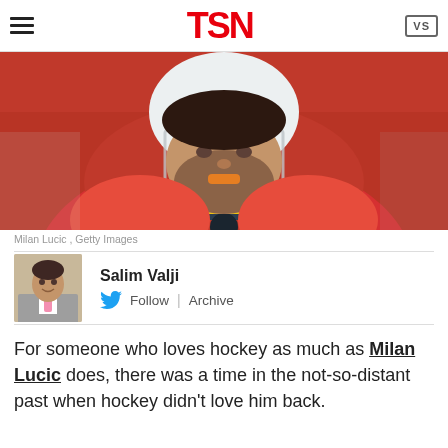TSN
[Figure (photo): Close-up photo of Milan Lucic wearing a red Calgary Flames NHL hockey jersey and white helmet with orange mouthguard.]
Milan Lucic , Getty Images
Salim Valji
Follow | Archive
For someone who loves hockey as much as Milan Lucic does, there was a time in the not-so-distant past when hockey didn't love him back.